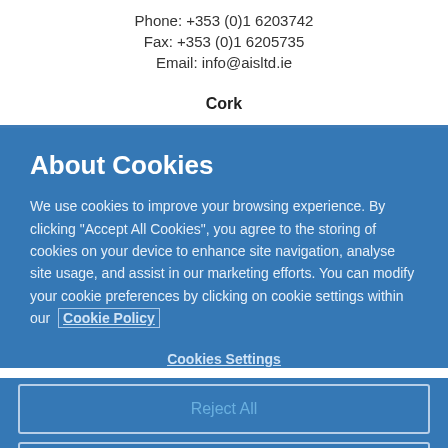Phone: +353 (0)1 6203742
Fax: +353 (0)1 6205735
Email: info@aisltd.ie
Cork
About Cookies
We use cookies to improve your browsing experience. By clicking “Accept All Cookies”, you agree to the storing of cookies on your device to enhance site navigation, analyse site usage, and assist in our marketing efforts. You can modify your cookie preferences by clicking on cookie settings within our Cookie Policy
Cookies Settings
Reject All
Accept All Cookies